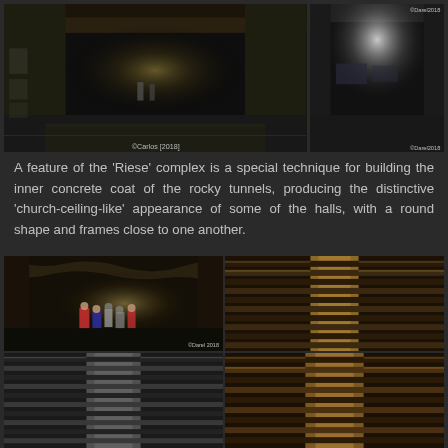[Figure (photo): Two photographs of underground tunnels in the 'Riese' complex. Left: a wide, dark tunnel corridor with reflective wet floor and distant figures. Right: a narrower, brighter tunnel corridor with signage visible on the wall. Watermarks read '©Carlos [2018]' and similar.]
A feature of the 'Riese' complex is a special technique for building the inner concrete coat of the rocky tunnels, producing the distinctive 'church-ceiling-like' appearance of some of the halls, with a round shape and frames close to one another.
[Figure (photo): Four photographs showing the interior of the 'Riese' underground complex. Top-left: a cave-like interior with visitors/tourists standing inside, with watermark '©Darel [2018]'. Top-right: close-up of ribbed wooden formwork or concrete ribbing structure (warm brown tones). Bottom-left: ribbed concrete arch framing structure in grey tones. Bottom-right: close-up of similar ribbed wooden/concrete formwork in warm brown tones.]